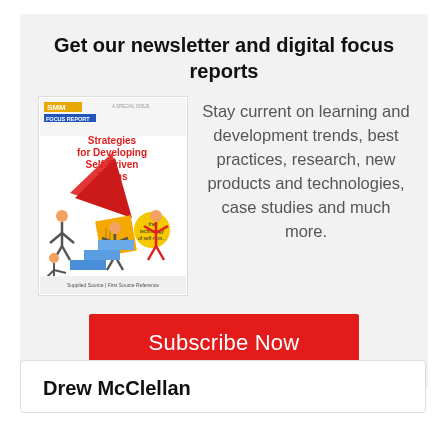Get our newsletter and digital focus reports
[Figure (illustration): Book cover: SMM Strategies for Developing Self-Driven Teams, showing illustrated figures pushing/carrying large geometric shapes]
Stay current on learning and development trends, best practices, research, new products and technologies, case studies and much more.
Subscribe Now
Drew McClellan